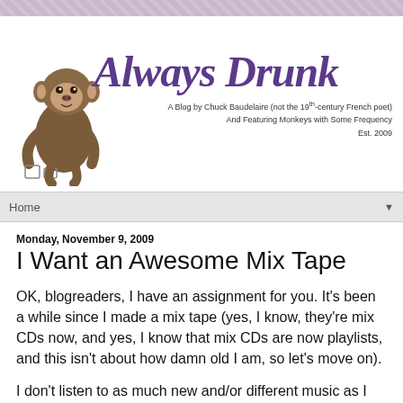[Figure (illustration): Blog header with monkey illustration and 'Always Drunk' title in purple serif font. Subtitle reads: A Blog by Chuck Baudelaire (not the 19th-century French poet) And Featuring Monkeys with Some Frequency Est. 2009]
Home
Monday, November 9, 2009
I Want an Awesome Mix Tape
OK, blogreaders, I have an assignment for you. It's been a while since I made a mix tape (yes, I know, they're mix CDs now, and yes, I know that mix CDs are now playlists, and this isn't about how damn old I am, so let's move on).
I don't listen to as much new and/or different music as I used